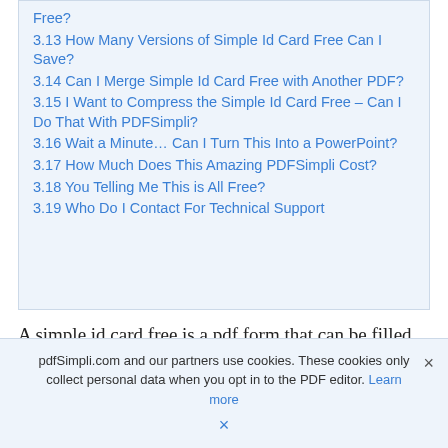3.13 How Many Versions of Simple Id Card Free Can I Save?
3.14 Can I Merge Simple Id Card Free with Another PDF?
3.15 I Want to Compress the Simple Id Card Free – Can I Do That With PDFSimpli?
3.16 Wait a Minute… Can I Turn This Into a PowerPoint?
3.17 How Much Does This Amazing PDFSimpli Cost?
3.18 You Telling Me This is All Free?
3.19 Who Do I Contact For Technical Support
A simple id card free is a pdf form that can be filled out, edited or modified by anyone online. PDF (Portable
pdfSimpli.com and our partners use cookies. These cookies only collect personal data when you opt in to the PDF editor. Learn more